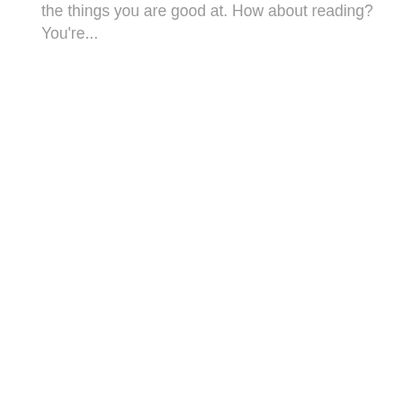the things you are good at. How about reading? You're...